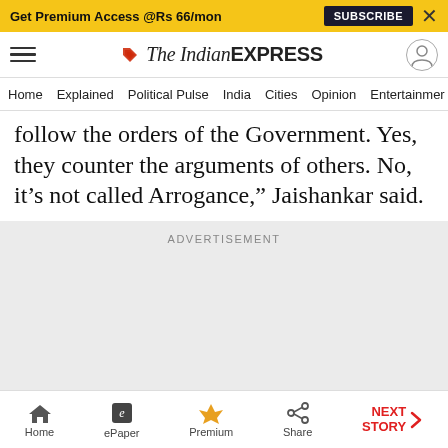Get Premium Access @Rs 66/mon  SUBSCRIBE  X
The Indian EXPRESS — site header with hamburger menu and user icon
Home  Explained  Political Pulse  India  Cities  Opinion  Entertainment
follow the orders of the Government. Yes, they counter the arguments of others. No, it’s not called Arrogance,” Jaishankar said.
ADVERTISEMENT
Home  ePaper  Premium  Share  NEXT STORY